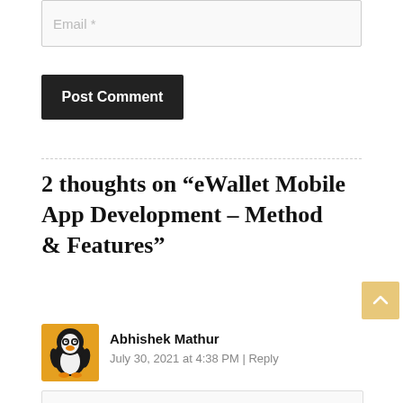[Figure (screenshot): Email input field placeholder]
Post Comment
2 thoughts on “eWallet Mobile App Development – Method & Features”
[Figure (illustration): Scroll to top button with upward arrow, yellow/orange background]
[Figure (illustration): Linux Tux penguin avatar icon for commenter Abhishek Mathur]
Abhishek Mathur
July 30, 2021 at 4:38 PM | Reply